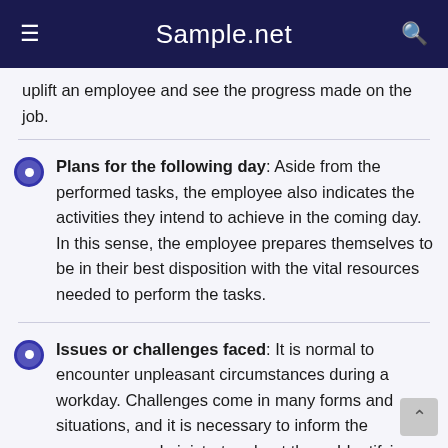Sample.net
uplift an employee and see the progress made on the job.
Plans for the following day: Aside from the performed tasks, the employee also indicates the activities they intend to achieve in the coming day. In this sense, the employee prepares themselves to be in their best disposition with the vital resources needed to perform the tasks.
Issues or challenges faced: It is normal to encounter unpleasant circumstances during a workday. Challenges come in many forms and situations, and it is necessary to inform the manager or administrator about them. Identifying these issues help the managerial team to analyze work situations and make necessary adjustments. The employee includes all